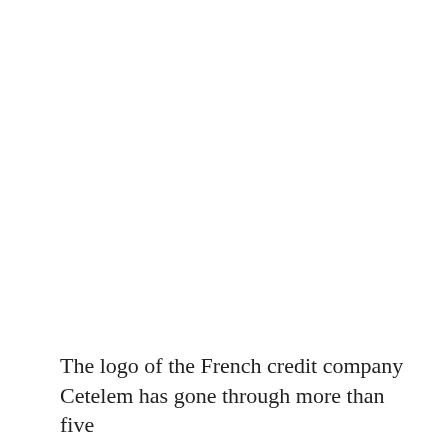The logo of the French credit company Cetelem has gone through more than five